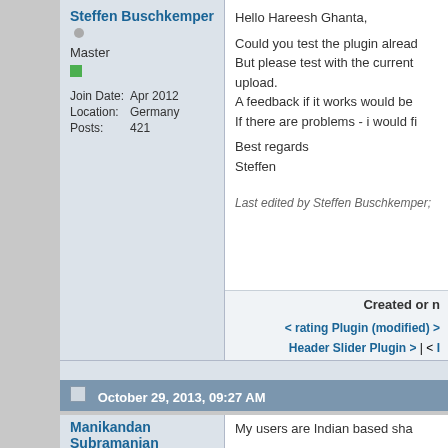Steffen Buschkemper
Master
Join Date: Apr 2012
Location: Germany
Posts: 421
Hello Hareesh Ghanta,

Could you test the plugin already.
But please test with the current upload.
A feedback if it works would be ...
If there are problems - i would fi...
Best regards
Steffen
Last edited by Steffen Buschkemper;
Created or n
< rating Plugin (modified) >
Header Slider Plugin > | < I
ccAvenue P
October 29, 2013, 09:27 AM
Manikandan Subramanian
My users are Indian based sha...